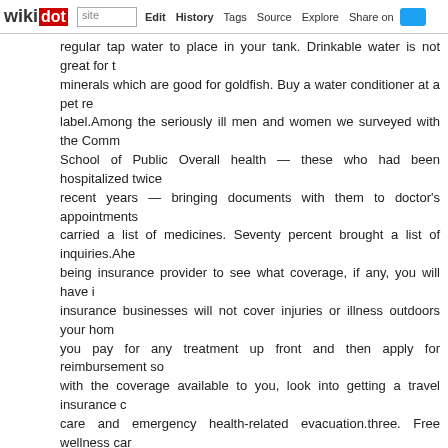wikidot | site | Edit | History | Tags | Source | Explore | Share on Twitter
regular tap water to place in your tank. Drinkable water is not great for the minerals which are good for goldfish. Buy a water conditioner at a pet re label.Among the seriously ill men and women we surveyed with the Comm School of Public Overall health — these who had been hospitalized twice recent years — bringing documents with them to doctor's appointments carried a list of medicines. Seventy percent brought a list of inquiries.Ahe being insurance provider to see what coverage, if any, you will have i insurance businesses will not cover injuries or illness outdoors your hom you pay for any treatment up front and then apply for reimbursement so with the coverage available to you, look into getting a travel insurance c care and emergency health-related evacuation.three. Free wellness car Although many healthcare services are covered across Canada, son typically perform a variety of tests as precautions. Ask your medical doct are recommending are. There are sometimes far more cost-effective alte related crises will inevitably arise the child should be vigilant for a hospita individuals. An advocacy team" of close friends and relatives must be mu a wider circle of concern" need to be tapped for moral support.Winter w kids and seniors are most vulnerable. Speak with your loved a single buddies. Try to share out the caring responsibilities relatively. If you belov to get more details with regards to cool training - bivlara617908545.wi Some carers might have much less time to provide if they have a compl Be kind to every single other and try to be flexible and supportive of eac details is shared, for example, if patients are sent to Alberta from the No but when individuals move to a new location, their file does not move wi be in fact in a much better position to offer care for the folks most critical a top priority.Some 35 companies are licensed to sell medical cover to e existing marketplace leader is Bupa International with 33 per cent of ma 2008. Cigna is an additional significant player, along with neighborhoo Dhipava Insurance and Thai Overall health Insurance coverage.But my